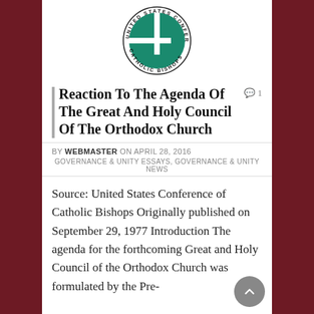[Figure (logo): United States Conference of Catholic Bishops circular logo with green cross and circular text]
Reaction To The Agenda Of The Great And Holy Council Of The Orthodox Church
BY WEBMASTER ON APRIL 28, 2016
GOVERNANCE & UNITY ESSAYS, GOVERNANCE & UNITY NEWS
Source: United States Conference of Catholic Bishops Originally published on September 29, 1977 Introduction The agenda for the forthcoming Great and Holy Council of the Orthodox Church was formulated by the Pre-